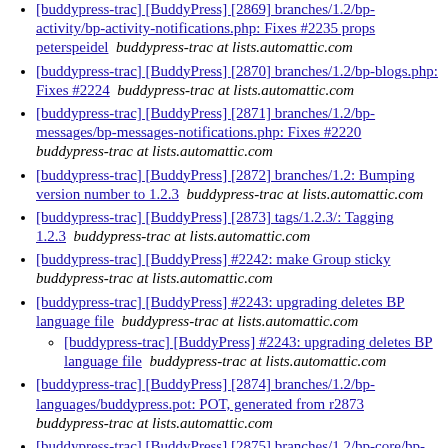[buddypress-trac] [BuddyPress] [2869] branches/1.2/bp-activity/bp-activity-notifications.php: Fixes #2235 props peterspeidel   buddypress-trac at lists.automattic.com
[buddypress-trac] [BuddyPress] [2870] branches/1.2/bp-blogs.php: Fixes #2224   buddypress-trac at lists.automattic.com
[buddypress-trac] [BuddyPress] [2871] branches/1.2/bp-messages/bp-messages-notifications.php: Fixes #2220   buddypress-trac at lists.automattic.com
[buddypress-trac] [BuddyPress] [2872] branches/1.2: Bumping version number to 1.2.3   buddypress-trac at lists.automattic.com
[buddypress-trac] [BuddyPress] [2873] tags/1.2.3/: Tagging 1.2.3   buddypress-trac at lists.automattic.com
[buddypress-trac] [BuddyPress] #2242: make Group sticky   buddypress-trac at lists.automattic.com
[buddypress-trac] [BuddyPress] #2243: upgrading deletes BP language file   buddypress-trac at lists.automattic.com
[buddypress-trac] [BuddyPress] #2243: upgrading deletes BP language file   buddypress-trac at lists.automattic.com
[buddypress-trac] [BuddyPress] [2874] branches/1.2/bp-languages/buddypress.pot: POT, generated from r2873   buddypress-trac at lists.automattic.com
[buddypress-trac] [BuddyPress] [2875] branches/1.2/bp-core/bp-core-catchuri.php: Root profiles fix   buddypress